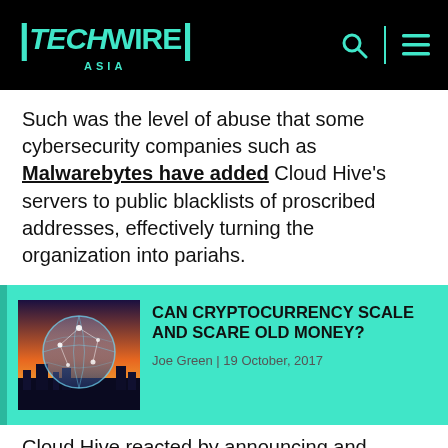TechWire Asia
Such was the level of abuse that some cybersecurity companies such as Malwarebytes have added Cloud Hive's servers to public blacklists of proscribed addresses, effectively turning the organization into pariahs.
[Figure (photo): Futuristic globe with circuit network overlay against city skyline at dusk]
CAN CRYPTOCURRENCY SCALE AND SCARE OLD MONEY?
Joe Green | 19 October, 2017
Cloud Hive reacted by announcing and marketing a